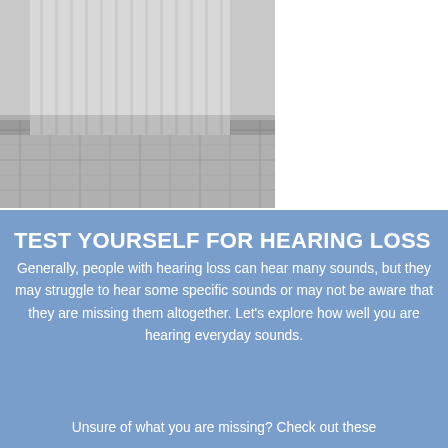[Figure (photo): Grayscale photo of a person in a white striped shirt sitting in a wicker chair, cropped to show upper body and chair detail]
TEST YOURSELF FOR HEARING LOSS
Generally, people with hearing loss can hear many sounds, but they may struggle to hear some specific sounds or may not be aware that they are missing them altogether. Let's explore how well you are hearing everyday sounds.
Unsure of what you are missing? Check out these